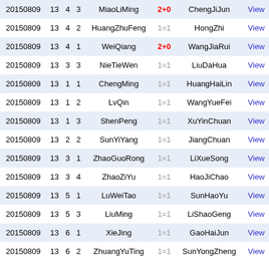| Date | Col2 | Col3 | Col4 | Player1 | Score | Player2 | Action |
| --- | --- | --- | --- | --- | --- | --- | --- |
| 20150809 | 13 | 4 | 3 | MiaoLiMing | 2+0 | ChengJiJun | View |
| 20150809 | 13 | 4 | 2 | HuangZhuFeng | 1=1 | HongZhi | View |
| 20150809 | 13 | 4 | 1 | WeiQiang | 2+0 | WangJiaRui | View |
| 20150809 | 13 | 3 | 3 | NieTieWen | 1=1 | LiuDaHua | View |
| 20150809 | 13 | 1 | 1 | ChengMing | 1=1 | HuangHaiLin | View |
| 20150809 | 13 | 1 | 2 | LvQin | 1=1 | WangYueFei | View |
| 20150809 | 13 | 1 | 3 | ShenPeng | 1=1 | XuYinChuan | View |
| 20150809 | 13 | 2 | 2 | SunYiYang | 1=1 | JiangChuan | View |
| 20150809 | 13 | 3 | 1 | ZhaoGuoRong | 1=1 | LiXueSong | View |
| 20150809 | 13 | 3 | 4 | ZhaoZiYu | 1=1 | HaoJiChao | View |
| 20150809 | 13 | 5 | 1 | LuWeiTao | 1=1 | SunHaoYu | View |
| 20150809 | 13 | 5 | 3 | LiuMing | 1=1 | LiShaoGeng | View |
| 20150809 | 13 | 6 | 1 | XieJing | 1=1 | GaoHaiJun | View |
| 20150809 | 13 | 6 | 2 | ZhuangYuTing | 1=1 | SunYongZheng | View |